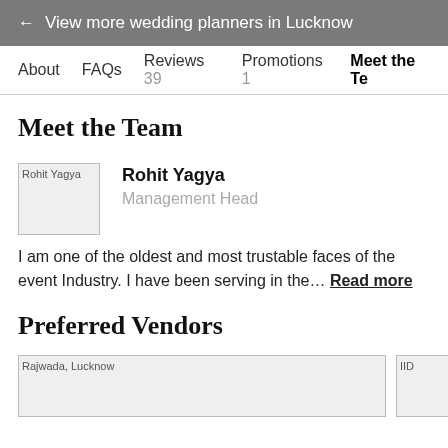← View more wedding planners in Lucknow
About   FAQs   Reviews 39   Promotions 1   Meet the Te
Meet the Team
[Figure (photo): Profile photo of Rohit Yagya]
Rohit Yagya
Management Head
I am one of the oldest and most trustable faces of the event Industry. I have been serving in the… Read more
Preferred Vendors
[Figure (photo): Rajwada, Lucknow venue photo]
[Figure (photo): Second vendor photo (partially visible)]